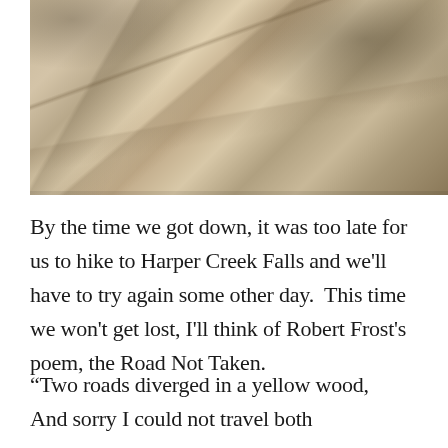[Figure (photo): Close-up photograph of peeling, cracked bark or dried layered material in beige and tan tones, with small insects visible at top.]
By the time we got down, it was too late for us to hike to Harper Creek Falls and we'll have to try again some other day.  This time we won't get lost, I'll think of Robert Frost's poem, the Road Not Taken.
“Two roads diverged in a yellow wood,
And sorry I could not travel both